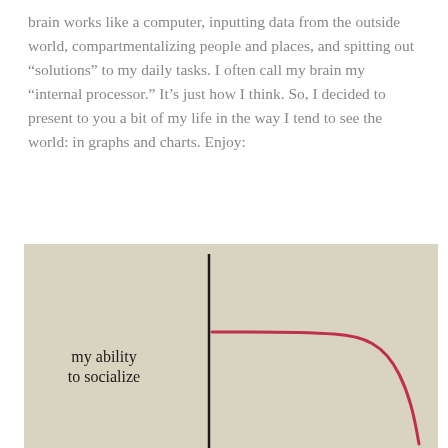brain works like a computer, inputting data from the outside world, compartmentalizing people and places, and spitting out “solutions” to my daily tasks. I often call my brain my “internal processor.” It’s just how I think. So, I decided to present to you a bit of my life in the way I tend to see the world: in graphs and charts. Enjoy:
[Figure (continuous-plot): Hand-drawn graph on beige/tan paper showing a y-axis (vertical line) with the label 'my ability to socialize' on the left side. A red/pink curve starts high on the left of the y-axis, stays relatively flat, then drops sharply downward as it moves to the right, suggesting a decreasing relationship.]